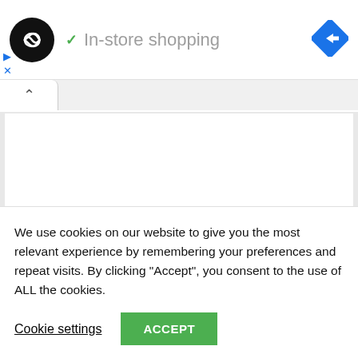[Figure (logo): Black circle logo with infinity/loop symbol in white]
✓ In-store shopping
[Figure (illustration): Blue diamond navigation/directions icon with white arrow pointing right]
▷
✕
[Figure (screenshot): Gray panel area with a white tab showing an up-arrow (^) and a white content area below]
We use cookies on our website to give you the most relevant experience by remembering your preferences and repeat visits. By clicking "Accept", you consent to the use of ALL the cookies.
Cookie settings
ACCEPT